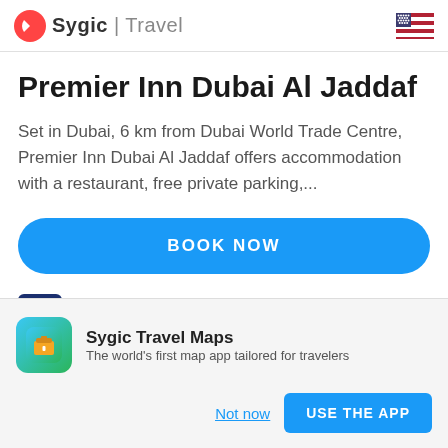Sygic | Travel
Premier Inn Dubai Al Jaddaf
Set in Dubai, 6 km from Dubai World Trade Centre, Premier Inn Dubai Al Jaddaf offers accommodation with a restaurant, free private parking,...
[Figure (other): BOOK NOW button - blue rounded rectangle button]
[Figure (other): Rating section: 8.6 badge (dark blue), Very good label, 100% verified reviews, Booking.com logo]
[Figure (other): Sygic Travel Maps app icon - green/blue gradient with briefcase]
Sygic Travel Maps
The world's first map app tailored for travelers
Not now
USE THE APP